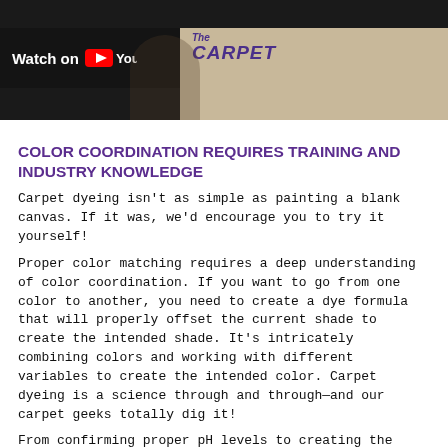[Figure (screenshot): YouTube video thumbnail showing 'Watch on YouTube' overlay with carpet cleaning related content and 'The Carpet' logo on a beige/tan background]
COLOR COORDINATION REQUIRES TRAINING AND INDUSTRY KNOWLEDGE
Carpet dyeing isn’t as simple as painting a blank canvas. If it was, we’d encourage you to try it yourself!
Proper color matching requires a deep understanding of color coordination. If you want to go from one color to another, you need to create a dye formula that will properly offset the current shade to create the intended shade. It’s intricately combining colors and working with different variables to create the intended color. Carpet dyeing is a science through and through—and our carpet geeks totally dig it!
From confirming proper pH levels to creating the custom dye formula, there are many steps to ensuring a quality carpet dyeing. To learn more about our proven process, click here